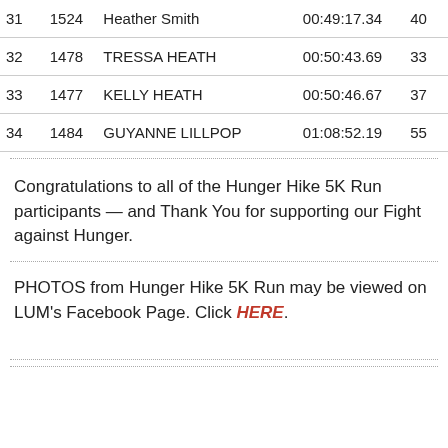| Rank | Bib | Name | Time | Age |
| --- | --- | --- | --- | --- |
| 31 | 1524 | Heather Smith | 00:49:17.34 | 40 |
| 32 | 1478 | TRESSA HEATH | 00:50:43.69 | 33 |
| 33 | 1477 | KELLY HEATH | 00:50:46.67 | 37 |
| 34 | 1484 | GUYANNE LILLPOP | 01:08:52.19 | 55 |
Congratulations to all of the Hunger Hike 5K Run participants — and Thank You for supporting our Fight against Hunger.
PHOTOS from Hunger Hike 5K Run may be viewed on LUM's Facebook Page. Click HERE.